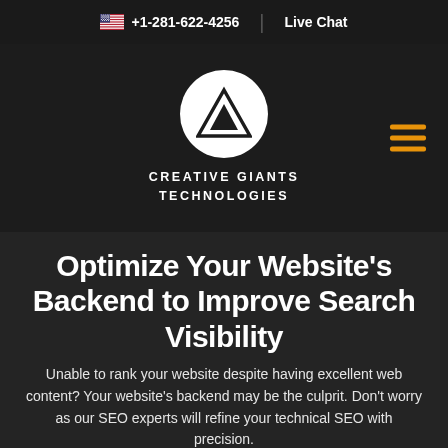+1-281-622-4256   Live Chat
[Figure (logo): Creative Giants Technologies logo — white triangle/arrow mark inside a white circle, with text 'CREATIVE GIANTS TECHNOLOGIES' below, on dark background]
Optimize Your Website's Backend to Improve Search Visibility
Unable to rank your website despite having excellent web content? Your website's backend may be the culprit. Don't worry as our SEO experts will refine your technical SEO with precision.